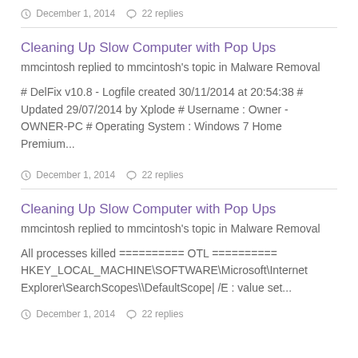December 1, 2014   22 replies
Cleaning Up Slow Computer with Pop Ups
mmcintosh replied to mmcintosh's topic in Malware Removal
# DelFix v10.8 - Logfile created 30/11/2014 at 20:54:38 # Updated 29/07/2014 by Xplode # Username : Owner - OWNER-PC # Operating System : Windows 7 Home Premium...
December 1, 2014   22 replies
Cleaning Up Slow Computer with Pop Ups
mmcintosh replied to mmcintosh's topic in Malware Removal
All processes killed ========== OTL ========== HKEY_LOCAL_MACHINE\SOFTWARE\Microsoft\Internet Explorer\SearchScopes\DefaultScope| /E : value set...
December 1, 2014   22 replies